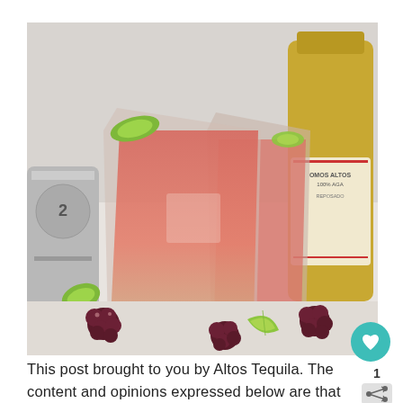[Figure (photo): Two pink/red cocktail drinks in clear glasses with lime garnish, blackberries scattered around, a tequila bottle in the background, and a soda can on the left side. The drinks appear to be blackberry margaritas.]
This post brought to you by Altos Tequila. The content and opinions expressed below are that of Southern FATTY. I've been on this mission lately at home in the Fatty test kitchen. I